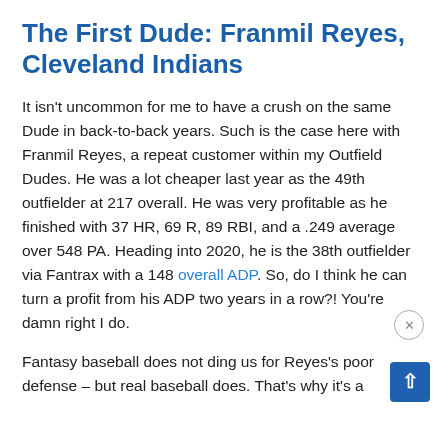The First Dude: Franmil Reyes, Cleveland Indians
It isn't uncommon for me to have a crush on the same Dude in back-to-back years. Such is the case here with Franmil Reyes, a repeat customer within my Outfield Dudes. He was a lot cheaper last year as the 49th outfielder at 217 overall. He was very profitable as he finished with 37 HR, 69 R, 89 RBI, and a .249 average over 548 PA. Heading into 2020, he is the 38th outfielder via Fantrax with a 148 overall ADP. So, do I think he can turn a profit from his ADP two years in a row?! You're damn right I do.
Fantasy baseball does not ding us for Reyes's poor defense – but real baseball does. That's why it's a blessing that he was traded to the Cleveland...